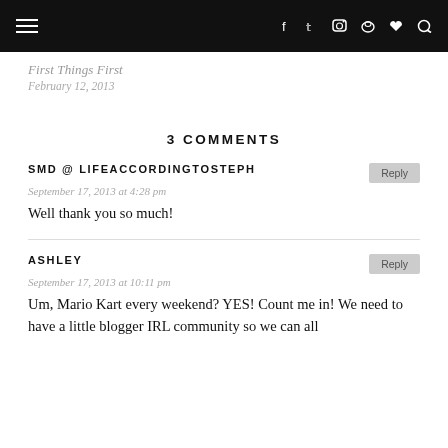Navigation bar with hamburger menu and social icons
First Things First
February 12, 2013
3 COMMENTS
SMD @ LIFEACCORDINGTOSTEPH
September 17, 2013 at 4:28 pm
Well thank you so much!
ASHLEY
September 17, 2013 at 10:11 pm
Um, Mario Kart every weekend? YES! Count me in! We need to have a little blogger IRL community so we can all